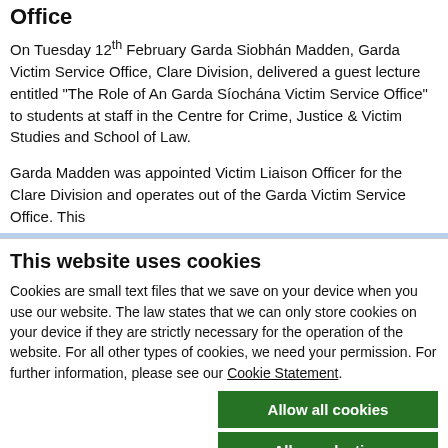Office
On Tuesday 12th February Garda Siobhán Madden, Garda Victim Service Office, Clare Division, delivered a guest lecture entitled "The Role of An Garda Síochána Victim Service Office" to students at staff in the Centre for Crime, Justice & Victim Studies and School of Law.
Garda Madden was appointed Victim Liaison Officer for the Clare Division and operates out of the Garda Victim Service Office. This
This website uses cookies
Cookies are small text files that we save on your device when you use our website. The law states that we can only store cookies on your device if they are strictly necessary for the operation of the website. For all other types of cookies, we need your permission. For further information, please see our Cookie Statement.
Allow all cookies
Allow selection
Use necessary cookies only
Necessary  Preferences  Statistics  Marketing  Show details